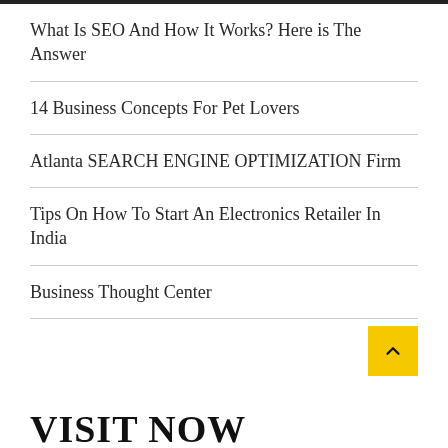What Is SEO And How It Works? Here is The Answer
14 Business Concepts For Pet Lovers
Atlanta SEARCH ENGINE OPTIMIZATION Firm
Tips On How To Start An Electronics Retailer In India
Business Thought Center
VISIT NOW